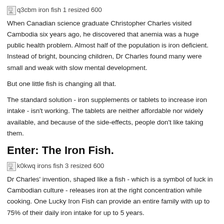[Figure (photo): Broken image placeholder: q3cbm iron fish 1 resized 600]
When Canadian science graduate Christopher Charles visited Cambodia six years ago, he discovered that anemia was a huge public health problem. Almost half of the population is iron deficient. Instead of bright, bouncing children, Dr Charles found many were small and weak with slow mental development.
But one little fish is changing all that.
The standard solution - iron supplements or tablets to increase iron intake - isn't working. The tablets are neither affordable nor widely available, and because of the side-effects, people don't like taking them.
Enter: The Iron Fish.
[Figure (photo): Broken image placeholder: k0kwq irons fish 3 resized 600]
Dr Charles' invention, shaped like a fish - which is a symbol of luck in Cambodian culture - releases iron at the right concentration while cooking. One Lucky Iron Fish can provide an entire family with up to 75% of their daily iron intake for up to 5 years.